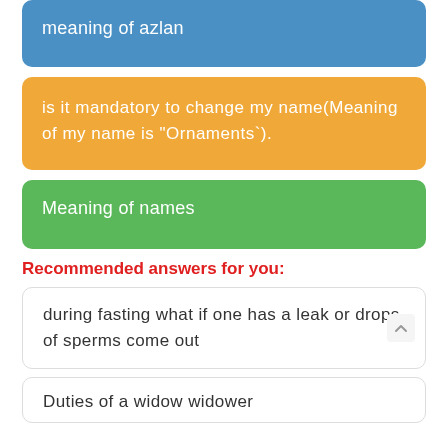meaning of azlan
is it mandatory to change my name(Meaning of my name is "Ornaments`).
Meaning of names
Recommended answers for you:
during fasting what if one has a leak or drops of sperms come out
Duties of a widow widower